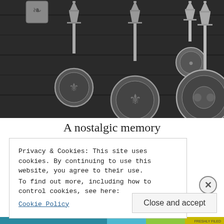[Figure (photo): Black and white photo of four decorative measuring spoons with Eiffel Tower shaped handles, hanging on a wooden rack]
A nostalgic memory
Privacy & Cookies: This site uses cookies. By continuing to use this website, you agree to their use.
To find out more, including how to control cookies, see here:
Cookie Policy
Close and accept